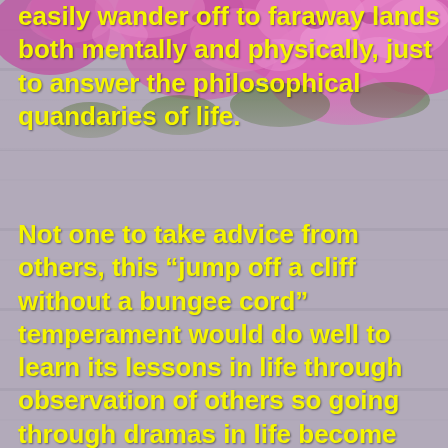[Figure (photo): Pink/magenta flowers (possibly rhododendrons or azaleas) arranged on a grey wooden plank background, visible in the upper portion of the page.]
easily wander off to faraway lands both mentally and physically, just to answer the philosophical quandaries of life.
Not one to take advice from others, this “jump off a cliff without a bungee cord” temperament would do well to learn its lessons in life through observation of others so going through dramas in life become unnecessary.
Life is never dull for those that are the companions of the Number Five. The marriage mate of a Five needs to understand their mate’s need for an unrestricted lifestyle and the dislike for handling responsibility. The Number Five has